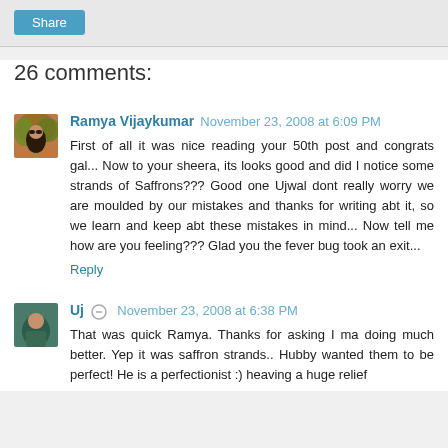[Figure (other): Share button bar at top of page]
26 comments:
[Figure (photo): Avatar photo of Ramya Vijaykumar - woman with sunglasses outdoors]
Ramya Vijaykumar November 23, 2008 at 6:09 PM
First of all it was nice reading your 50th post and congrats gal... Now to your sheera, its looks good and did I notice some strands of Saffrons??? Good one Ujwal dont really worry we are moulded by our mistakes and thanks for writing abt it, so we learn and keep abt these mistakes in mind... Now tell me how are you feeling??? Glad you the fever bug took an exit...
Reply
[Figure (photo): Avatar photo of Uj - woman in teal/green top]
Uj November 23, 2008 at 6:38 PM
That was quick Ramya. Thanks for asking I ma doing much better. Yep it was saffron strands.. Hubby wanted them to be perfect! He is a perfectionist :) heaving a huge relief